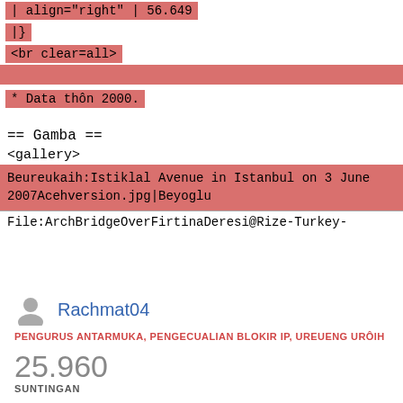| align="right" | 56.649
|}
<br clear=all>
* Data thôn 2000.
== Gamba ==
<gallery>
Beureukaih:Istiklal Avenue in Istanbul on 3 June 2007Acehversion.jpg|Beyoglu
File:ArchBridgeOverFirtinaDeresi@Rize-Turkey-
Rachmat04
PENGURUS ANTARMUKA, PENGECUALIAN BLOKIR IP, UREUENG URÔIH
25.960
SUNTINGAN